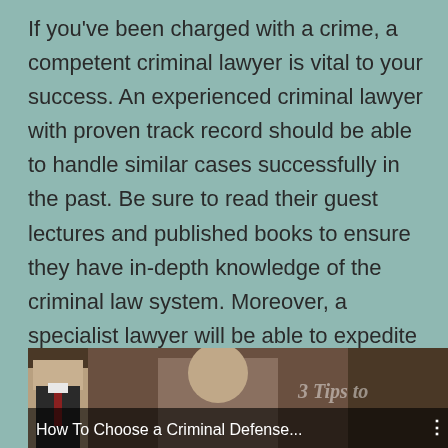If you've been charged with a crime, a competent criminal lawyer is vital to your success. An experienced criminal lawyer with proven track record should be able to handle similar cases successfully in the past. Be sure to read their guest lectures and published books to ensure they have in-depth knowledge of the criminal law system. Moreover, a specialist lawyer will be able to expedite the process. So, don't wait a second to hire a criminal lawyer.
[Figure (screenshot): Video thumbnail showing 'How To Choose a Criminal Defense...' with a person in a suit on the left and another person on the right. Overlay text '3 Tips to' in italic. Dark semi-transparent bar at bottom with title text.]